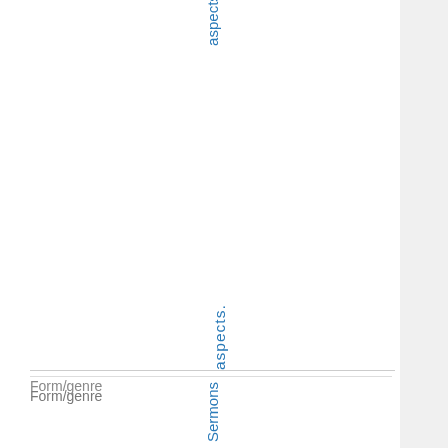aspects.
Form/genre
Sermons
Place
UnitedState